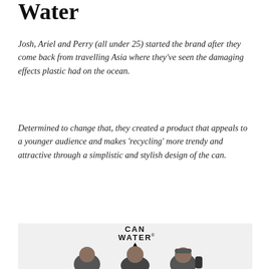Water
Josh, Ariel and Perry (all under 25) started the brand after they come back from travelling Asia where they've seen the damaging effects plastic had on the ocean.
Determined to change that, they created a product that appeals to a younger audience and makes ‘recycling’ more trendy and attractive through a simplistic and stylish design of the can.
[Figure (photo): Three young men sitting in front of a wall with 'CAN WATER' logo text and water drop icon. The logo text reads 'CAN WATER' vertically with a droplet symbol.]